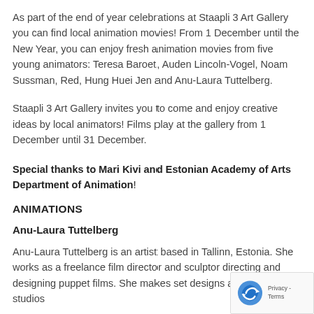As part of the end of year celebrations at Staapli 3 Art Gallery you can find local animation movies! From 1 December until the New Year, you can enjoy fresh animation movies from five young animators: Teresa Baroet, Auden Lincoln-Vogel, Noam Sussman, Red, Hung Huei Jen and Anu-Laura Tuttelberg.
Staapli 3 Art Gallery invites you to come and enjoy creative ideas by local animators! Films play at the gallery from 1 December until 31 December.
Special thanks to Mari Kivi and Estonian Academy of Arts Department of Animation!
ANIMATIONS
Anu-Laura Tuttelberg
Anu-Laura Tuttelberg is an artist based in Tallinn, Estonia. She works as a freelance film director and sculptor directing and designing puppet films. She makes set designs at animation studios